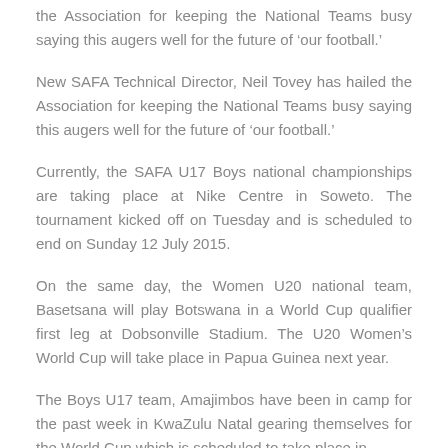the Association for keeping the National Teams busy saying this augers well for the future of ‘our football.’
New SAFA Technical Director, Neil Tovey has hailed the Association for keeping the National Teams busy saying this augers well for the future of ‘our football.’
Currently, the SAFA U17 Boys national championships are taking place at Nike Centre in Soweto. The tournament kicked off on Tuesday and is scheduled to end on Sunday 12 July 2015.
On the same day, the Women U20 national team, Basetsana will play Botswana in a World Cup qualifier first leg at Dobsonville Stadium. The U20 Women’s World Cup will take place in Papua Guinea next year.
The Boys U17 team, Amajimbos have been in camp for the past week in KwaZulu Natal gearing themselves for the World Cup which is scheduled to take place in